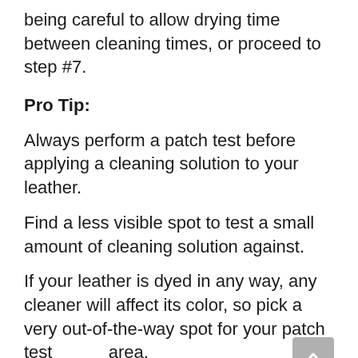being careful to allow drying time between cleaning times, or proceed to step #7.
Pro Tip:
Always perform a patch test before applying a cleaning solution to your leather.
Find a less visible spot to test a small amount of cleaning solution against.
If your leather is dyed in any way, any cleaner will affect its color, so pick a very out-of-the-way spot for your patch test area.